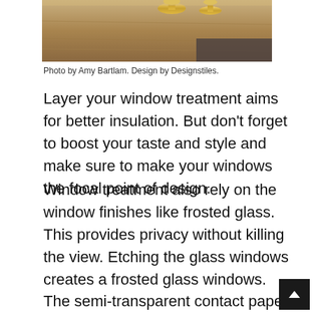[Figure (photo): Partial photo of a wooden surface with gold objects (candles/holders) in the background, cropped at the bottom portion of what appears to be a home decor scene.]
Photo by Amy Bartlam. Design by Designstiles.
Layer your window treatment aims for better insulation. But don’t forget to boost your taste and style and make sure to make your windows the focal point of design.
Window treatment also rely on the window finishes like frosted glass. This provides privacy without killing the view. Etching the glass windows creates a frosted glass windows. The semi-transparent contact paper is used to cover and make up the frosted glass windows. Some are using spray products to cover it. You may treat it partially or whole part of the window